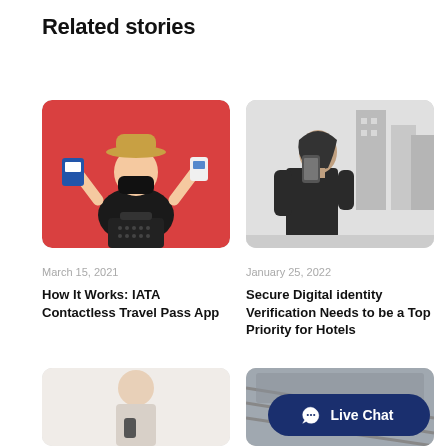Related stories
[Figure (photo): Woman wearing a mask and hat, raising her arms while holding a passport/card, against a red background with luggage]
March 15, 2021
How It Works: IATA Contactless Travel Pass App
[Figure (photo): Black and white photo of a woman looking at a smartphone, with a city building background]
January 25, 2022
Secure Digital identity Verification Needs to be a Top Priority for Hotels
[Figure (photo): Partial bottom card showing a person holding a phone, light/white background]
[Figure (photo): Partial bottom card showing what appears to be a transit/escalator scene]